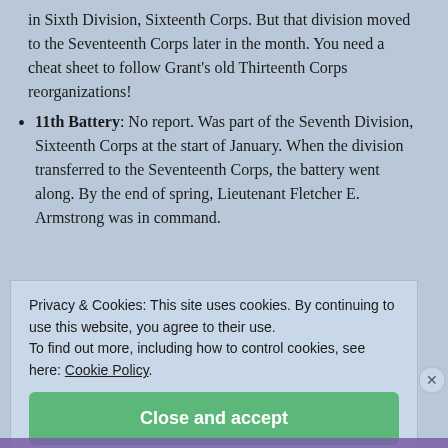in Sixth Division, Sixteenth Corps. But that division moved to the Seventeenth Corps later in the month. You need a cheat sheet to follow Grant's old Thirteenth Corps reorganizations!
11th Battery: No report. Was part of the Seventh Division, Sixteenth Corps at the start of January. When the division transferred to the Seventeenth Corps, the battery went along. By the end of spring, Lieutenant Fletcher E. Armstrong was in command.
Privacy & Cookies: This site uses cookies. By continuing to use this website, you agree to their use.
To find out more, including how to control cookies, see here: Cookie Policy.
Close and accept